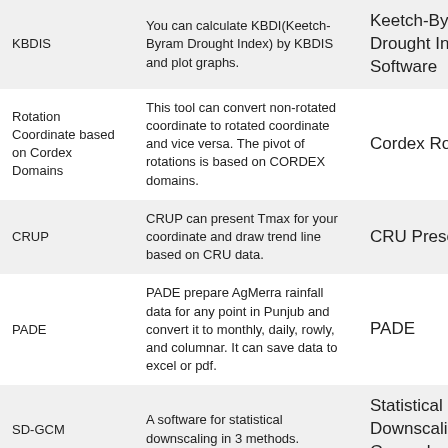| Tool | Description | Name |
| --- | --- | --- |
| KBDIS | You can calculate KBDI(Keetch-Byram Drought Index) by KBDIS and plot graphs. | Keetch-Byram Drought Index Software |
| Rotation Coordinate based on Cordex Domains | This tool can convert non-rotated coordinate to rotated coordinate and vice versa. The pivot of rotations is based on CORDEX domains. | Cordex Rotation |
| CRUP | CRUP can present Tmax for your coordinate and draw trend line based on CRU data. | CRU Presenter |
| PADE | PADE prepare AgMerra rainfall data for any point in Punjub and convert it to monthly, daily, rowly, and columnar. It can save data to excel or pdf. | PADE |
| SD-GCM | A software for statistical downscaling in 3 methods. | Statistical Downscaling of General |